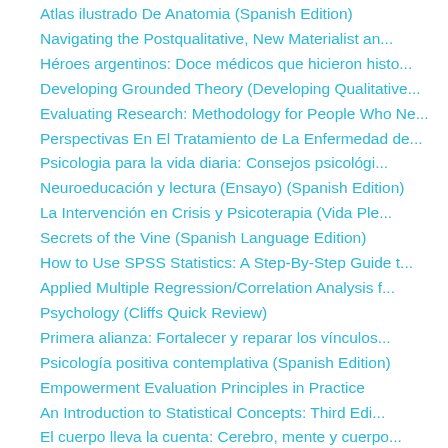Atlas ilustrado De Anatomia (Spanish Edition)
Navigating the Postqualitative, New Materialist an...
Héroes argentinos: Doce médicos que hicieron histo...
Developing Grounded Theory (Developing Qualitative...
Evaluating Research: Methodology for People Who Ne...
Perspectivas En El Tratamiento de La Enfermedad de...
Psicologia para la vida diaria: Consejos psicológi...
Neuroeducación y lectura (Ensayo) (Spanish Edition)
La Intervención en Crisis y Psicoterapia (Vida Ple...
Secrets of the Vine (Spanish Language Edition)
How to Use SPSS Statistics: A Step-By-Step Guide t...
Applied Multiple Regression/Correlation Analysis f...
Psychology (Cliffs Quick Review)
Primera alianza: Fortalecer y reparar los vínculos...
Psicología positiva contemplativa (Spanish Edition)
Empowerment Evaluation Principles in Practice
An Introduction to Statistical Concepts: Third Edi...
El cuerpo lleva la cuenta: Cerebro, mente y cuerpo...
Realidad y juego (Spanish Edition)